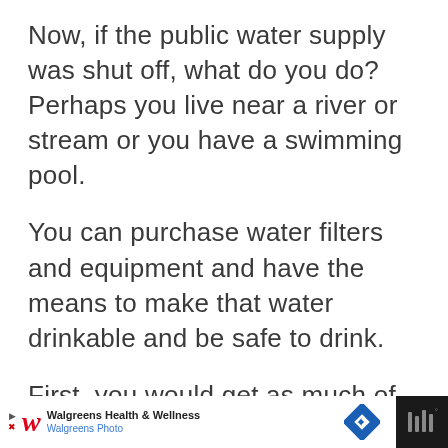Now, if the public water supply was shut off, what do you do? Perhaps you live near a river or stream or you have a swimming pool.
You can purchase water filters and equipment and have the means to make that water drinkable and be safe to drink.
First, you would get as much of the sediment and debris out of the water.
[Figure (other): Walgreens Health & Wellness / Walgreens Photo advertisement banner with navigation icon and weather widget on black background]